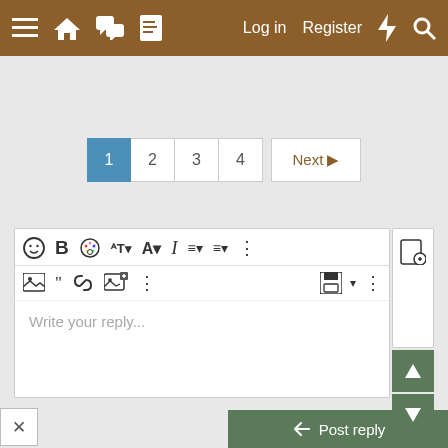≡ 🏠 💬 📄   Log in   Register   ⚡ 🔍
[Figure (screenshot): Pagination controls showing pages 1 (active, blue), 2, 3, 4, and Next button]
[Figure (screenshot): Text reply editor with toolbar icons for emoji, bold, color, font size, text color, italic, list, align, more options, image, quote, link, image upload, more; save button, preview icon; and placeholder text 'Write your reply...']
[Figure (screenshot): Green scroll up and scroll down buttons on the right side]
[Figure (screenshot): Close X button at bottom left and green Post reply button at bottom right]